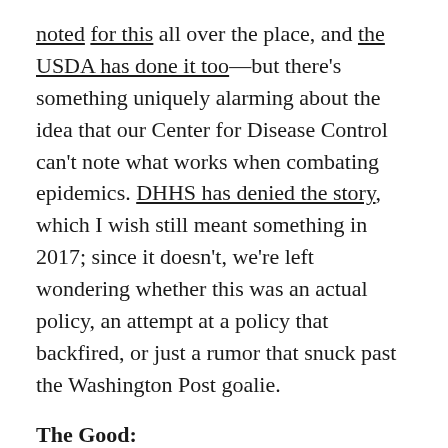noted for this all over the place, and the USDA has done it too—but there's something uniquely alarming about the idea that our Center for Disease Control can't note what works when combating epidemics. DHHS has denied the story, which I wish still meant something in 2017; since it doesn't, we're left wondering whether this was an actual policy, an attempt at a policy that backfired, or just a rumor that snuck past the Washington Post goalie.
The Good:
Federal Judge Withdrawals. Several deeply